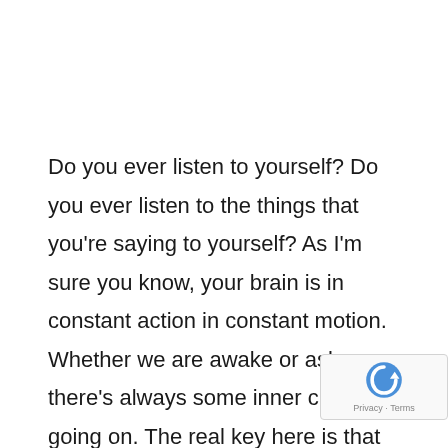Do you ever listen to yourself? Do you ever listen to the things that you're saying to yourself? As I'm sure you know, your brain is in constant action in constant motion. Whether we are awake or asleep, there's always some inner chatter going on. The real key here is that some of your internal dialogue is positive and far too much has a negative spin. It's essential that you immediately stop any self-defeating negative self-talk and focus on what's possible so that you can create